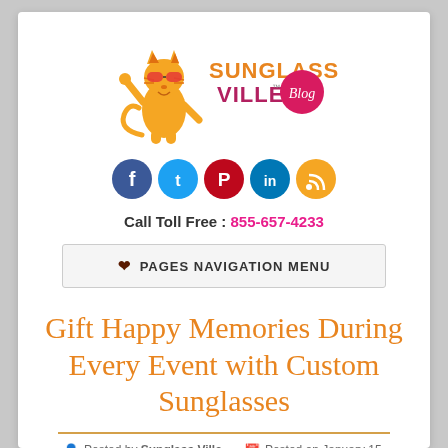[Figure (logo): Sunglass Ville Blog logo with cartoon tiger cat wearing sunglasses and orange/maroon text]
[Figure (infographic): Row of social media icons: Facebook (dark blue), Twitter (light blue), Pinterest (red/maroon), LinkedIn (dark blue), RSS (orange)]
Call Toll Free : 855-657-4233
PAGES NAVIGATION MENU
Gift Happy Memories During Every Event with Custom Sunglasses
Posted by Sunglass Ville    Posted on January 15,